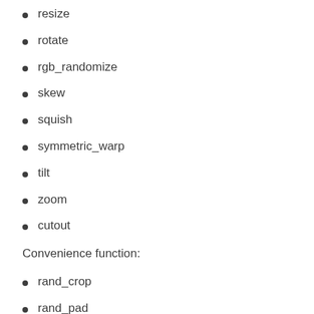resize
rotate
rgb_randomize
skew
squish
symmetric_warp
tilt
zoom
cutout
Convenience function:
rand_crop
rand_pad
rand_zoom